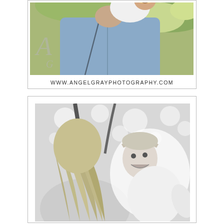[Figure (photo): Color photograph of a man in a blue chambray shirt holding a smiling young girl (blonde) on his shoulders, outdoors with green trees/bokeh background. Angel Gray Photography logo watermark visible bottom-left of photo.]
WWW.ANGELGRAYPHOTOGRAPHY.COM
[Figure (photo): Black and white photograph of a woman (blonde, back to camera) kissing or nuzzling a laughing young girl, outdoors with bokeh/tree background.]